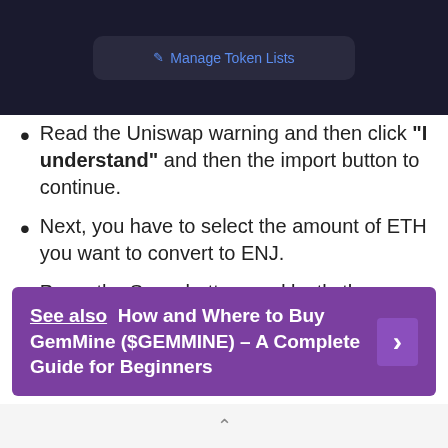[Figure (screenshot): Dark UI screenshot showing 'Manage Token Lists' link in a dark-themed modal dialog]
Read the Uniswap warning and then click "I understand" and then the import button to continue.
Next, you have to select the amount of ETH you want to convert to ENJ.
Press the Swap button, and lastly the Confirm button to complete the swap.
See also  How and Where to Buy GemMine ($GEMMINE) – A Complete Guide for Beginners